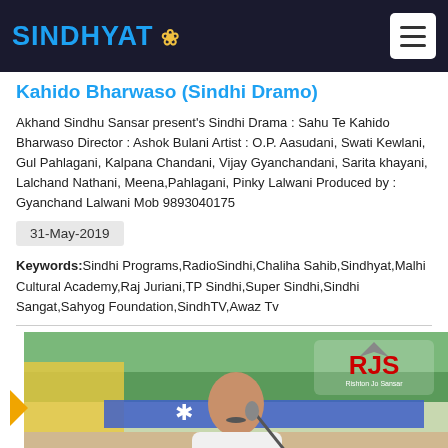SINDHYAT
Kahido Bharwaso (Sindhi Dramo)
Akhand Sindhu Sansar present's Sindhi Drama : Sahu Te Kahido Bharwaso Director : Ashok Bulani Artist : O.P. Aasudani, Swati Kewlani, Gul Pahlagani, Kalpana Chandani, Vijay Gyanchandani, Sarita khayani, Lalchand Nathani, Meena,Pahlagani, Pinky Lalwani Produced by : Gyanchand Lalwani Mob 9893040175
31-May-2019
Keywords: Sindhi Programs,RadioSindhi,Chaliha Sahib,Sindhyat,Malhi Cultural Academy,Raj Juriani,TP Sindhi,Super Sindhi,Sindhi Sangat,Sahyog Foundation,SindhTV,Awaz Tv
[Figure (photo): A man in white clothing speaking at a podium/microphone at an outdoor event, with a yellow and blue decorated backdrop, and the RJS (Rishton Jo Sansar) logo visible in the upper right corner. Urdu/Sindhi text visible at the bottom.]